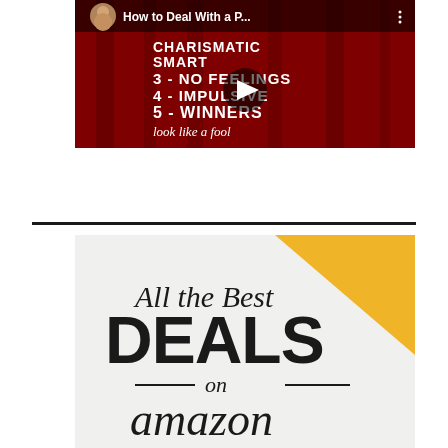[Figure (screenshot): YouTube video thumbnail showing a man with text listing: CHARISMATIC, SMART, 3-NO FEELINGS, 4-IMPULSIVE, 5-WINNERS, look like a fool. Video title: How to Deal With a P... with a play button overlay.]
[Figure (illustration): Amazon advertisement banner with light grey background, golden/yellow triangle in top-right corner, text reading 'All the Best DEALS on amazon']